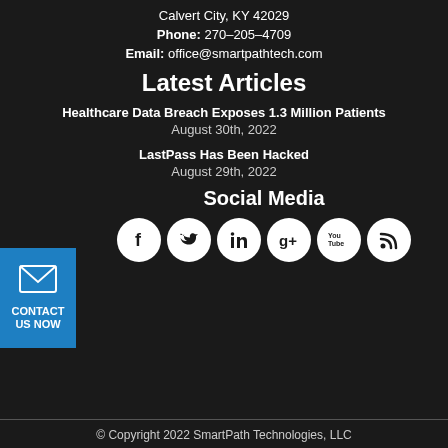Calvert City, KY 42029
Phone: 270–205–4709
Email: office@smartpathtech.com
Latest Articles
Healthcare Data Breach Exposes 1.3 Million Patients
August 30th, 2022
LastPass Has Been Hacked
August 29th, 2022
[Figure (infographic): Blue contact button with envelope icon and text CONTACT US NOW]
Social Media
[Figure (infographic): Row of 6 social media icons: Facebook, Twitter, LinkedIn, Google+, YouTube, RSS]
© Copyright 2022 SmartPath Technologies, LLC